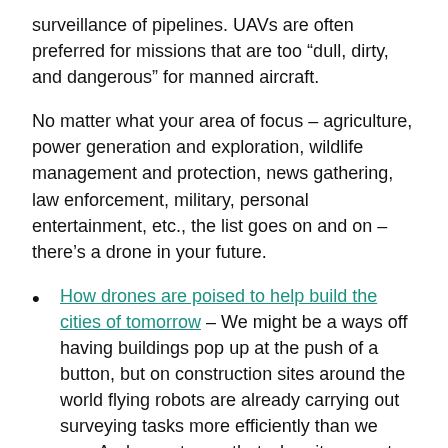surveillance of pipelines. UAVs are often preferred for missions that are too “dull, dirty, and dangerous” for manned aircraft.
No matter what your area of focus – agriculture, power generation and exploration, wildlife management and protection, news gathering, law enforcement, military, personal entertainment, etc., the list goes on and on – there’s a drone in your future.
How drones are poised to help build the cities of tomorrow – We might be a ways off having buildings pop up at the push of a button, but on construction sites around the world flying robots are already carrying out surveying tasks more efficiently than we can. And experts say that when it comes to